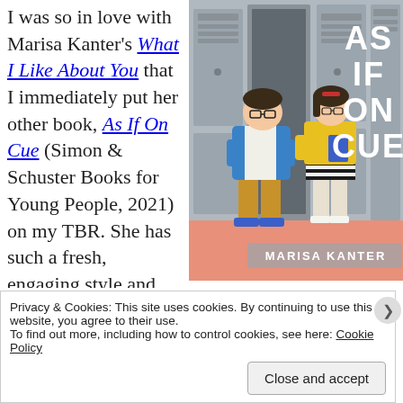I was so in love with Marisa Kanter's What I Like About You that I immediately put her other book, As If On Cue (Simon & Schuster Books for Young People, 2021) on my TBR. She has such a fresh, engaging style and writes such great banter between teens who are complex
[Figure (illustration): Book cover of 'As If On Cue' by Marisa Kanter. Shows two illustrated teens standing back-to-back at school lockers. One is a boy in a blue jacket and yellow pants, the other is a girl in a yellow top and striped skirt. The title 'AS IF ON CUE' is displayed in large decorative lettering, and author name 'MARISA KANTER' is at the bottom.]
Privacy & Cookies: This site uses cookies. By continuing to use this website, you agree to their use.
To find out more, including how to control cookies, see here: Cookie Policy
Close and accept